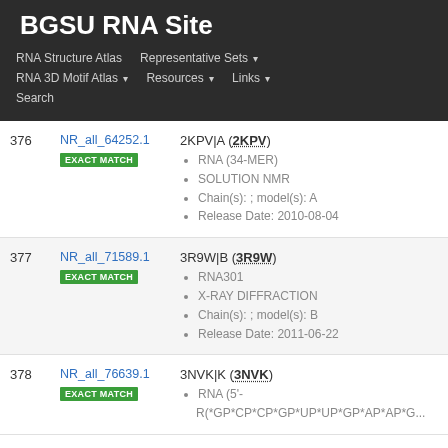BGSU RNA Site
RNA Structure Atlas  |  Representative Sets  |  RNA 3D Motif Atlas  |  Resources  |  Links  |  Search
| # | ID | Details |
| --- | --- | --- |
| 376 | NR_all_64252.1 EXACT MATCH | 2KPV|A (2KPV)
• RNA (34-MER)
• SOLUTION NMR
• Chain(s): ; model(s): A
• Release Date: 2010-08-04 |
| 377 | NR_all_71589.1 EXACT MATCH | 3R9W|B (3R9W)
• RNA301
• X-RAY DIFFRACTION
• Chain(s): ; model(s): B
• Release Date: 2011-06-22 |
| 378 | NR_all_76639.1 EXACT MATCH | 3NVK|K (3NVK)
• RNA (5'-R(*GP*CP*CP*GP*UP*UP*GP*AP*AP*G... |